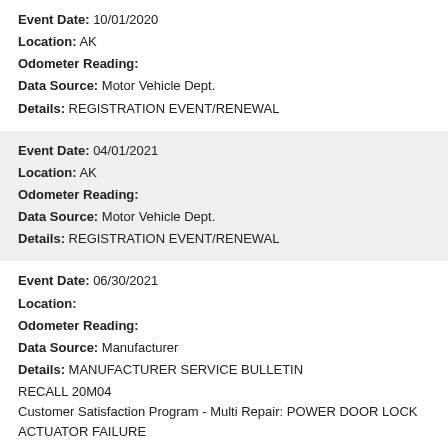Event Date: 10/01/2020
Location: AK
Odometer Reading:
Data Source: Motor Vehicle Dept.
Details: REGISTRATION EVENT/RENEWAL
Event Date: 04/01/2021
Location: AK
Odometer Reading:
Data Source: Motor Vehicle Dept.
Details: REGISTRATION EVENT/RENEWAL
Event Date: 06/30/2021
Location:
Odometer Reading:
Data Source: Manufacturer
Details: MANUFACTURER SERVICE BULLETIN
RECALL 20M04
Customer Satisfaction Program - Multi Repair: POWER DOOR LOCK ACTUATOR FAILURE
LOCATE YOUR NEAREST AUTHORIZED
FORD DEALER TO SCHEDULE REPAIR